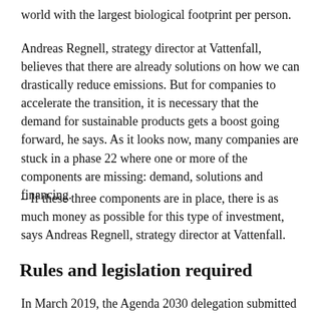world with the largest biological footprint per person.
Andreas Regnell, strategy director at Vattenfall, believes that there are already solutions on how we can drastically reduce emissions. But for companies to accelerate the transition, it is necessary that the demand for sustainable products gets a boost going forward, he says. As it looks now, many companies are stuck in a phase 22 where one or more of the components are missing: demand, solutions and financing.
– If these three components are in place, there is as much money as possible for this type of investment, says Andreas Regnell, strategy director at Vattenfall.
Rules and legislation required
In March 2019, the Agenda 2030 delegation submitted